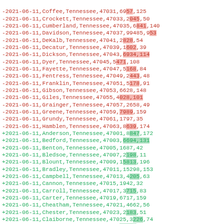diff data lines for COVID-19 county-level data, Tennessee counties, 2021-06-11
-2021-06-11,Coffee,Tennessee,47031,6957,125
-2021-06-11,Crockett,Tennessee,47033,2045,50
-2021-06-11,Cumberland,Tennessee,47035,6841,140
-2021-06-11,Davidson,Tennessee,47037,99485,953
-2021-06-11,DeKalb,Tennessee,47041,2828,54
-2021-06-11,Decatur,Tennessee,47039,1602,39
-2021-06-11,Dickson,Tennessee,47043,6934,114
-2021-06-11,Dyer,Tennessee,47045,5471,108
-2021-06-11,Fayette,Tennessee,47047,5168,84
-2021-06-11,Fentress,Tennessee,47049,2443,48
-2021-06-11,Franklin,Tennessee,47051,5178,91
-2021-06-11,Gibson,Tennessee,47053,6628,148
-2021-06-11,Giles,Tennessee,47055,4028,101
-2021-06-11,Grainger,Tennessee,47057,2658,49
-2021-06-11,Greene,Tennessee,47059,7989,159
-2021-06-11,Grundy,Tennessee,47061,1797,35
-2021-06-11,Hamblen,Tennessee,47063,8639,174
+2021-06-11,Anderson,Tennessee,47001,8847,172
+2021-06-11,Bedford,Tennessee,47003,6694,131
+2021-06-11,Benton,Tennessee,47005,1687,42
+2021-06-11,Bledsoe,Tennessee,47007,2198,11
+2021-06-11,Blount,Tennessee,47009,15813,196
+2021-06-11,Bradley,Tennessee,47011,15298,153
+2021-06-11,Campbell,Tennessee,47013,4205,63
+2021-06-11,Cannon,Tennessee,47015,1942,32
+2021-06-11,Carroll,Tennessee,47017,3715,83
+2021-06-11,Carter,Tennessee,47019,6717,159
+2021-06-11,Cheatham,Tennessee,47021,4662,56
+2021-06-11,Chester,Tennessee,47023,2183,51
+2021-06-11,Claiborne,Tennessee,47025,3226,74
+2021-06-11,Clay,Tennessee,47027,1107,31
+2021-06-11,Cocke,Tennessee,47029,4548,100
+2021-06-11,Coffee,Tennessee,47031,6907,125